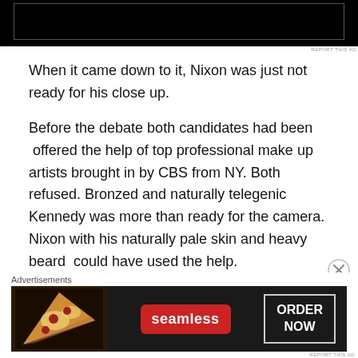[Figure (other): Black advertisement banner at top of page]
When it came down to it, Nixon was just not ready for his close up.
Before the debate both candidates had been  offered the help of top professional make up artists brought in by CBS from NY. Both refused. Bronzed and naturally telegenic Kennedy was more than ready for the camera. Nixon with his naturally pale skin and heavy beard  could have used the help.
Instead he sent an aide to a nearby drug store for  a
[Figure (other): Seamless advertisement banner at bottom: pizza image, seamless logo in red, ORDER NOW button]